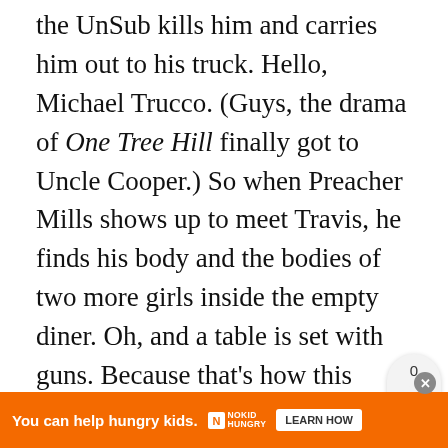the UnSub kills him and carries him out to his truck. Hello, Michael Trucco. (Guys, the drama of One Tree Hill finally got to Uncle Cooper.) So when Preacher Mills shows up to meet Travis, he finds his body and the bodies of two more girls inside the empty diner. Oh, and a table is set with guns. Because that's how this UnSub works.

One of the deputies sees Preacher Mills enter the diner, and Reid tries to call him that they know he's not the UnSub, but it's not his
[Figure (other): Share widget showing count 0 and a share icon (circular arrow with plus)]
[Figure (other): What's Next overlay widget with thumbnail image and text: WHAT'S NEXT → All About The Latest Seas...]
[Figure (other): Advertisement bar at bottom: orange background, text 'You can help hungry kids.' No Kid Hungry logo, LEARN HOW button, and close X button]